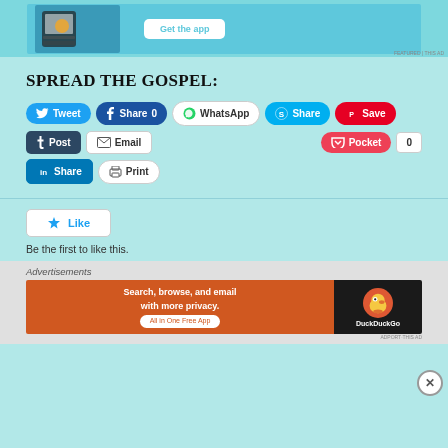[Figure (screenshot): Top advertisement banner showing a mobile app screenshot and 'Get the app' button on a light blue background]
SPREAD THE GOSPEL:
[Figure (infographic): Social share buttons row 1: Tweet, Share 0 (Facebook), WhatsApp, Share (Skype), Save (Pinterest)]
[Figure (infographic): Social share buttons row 2: Post (Tumblr), Email, Pocket, 0]
[Figure (infographic): Social share buttons row 3: Share (LinkedIn), Print]
[Figure (infographic): Like button widget with star icon]
Be the first to like this.
Advertisements
[Figure (screenshot): DuckDuckGo advertisement: Search, browse, and email with more privacy. All in One Free App]